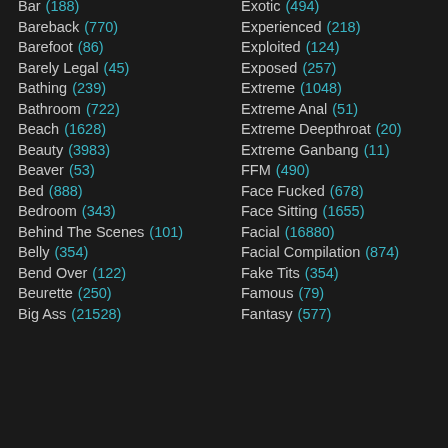Bar (188)
Bareback (770)
Barefoot (86)
Barely Legal (45)
Bathing (239)
Bathroom (722)
Beach (1628)
Beauty (3983)
Beaver (53)
Bed (888)
Bedroom (343)
Behind The Scenes (101)
Belly (354)
Bend Over (122)
Beurette (250)
Big Ass (21528)
Exotic (494)
Experienced (218)
Exploited (124)
Exposed (257)
Extreme (1048)
Extreme Anal (51)
Extreme Deepthroat (20)
Extreme Ganbang (11)
FFM (490)
Face Fucked (678)
Face Sitting (1655)
Facial (16880)
Facial Compilation (874)
Fake Tits (354)
Famous (79)
Fantasy (577)